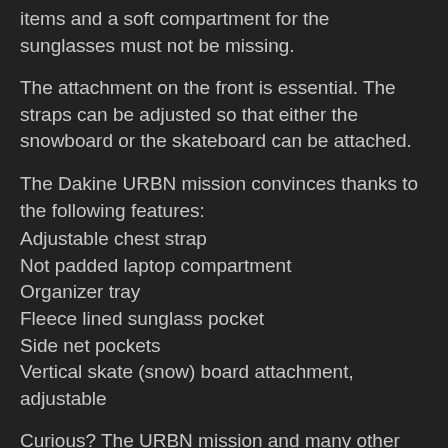items and a soft compartment for the sunglasses must not be missing.
The attachment on the front is essential. The straps can be adjusted so that either the snowboard or the skateboard can be attached.
The Dakine URBN mission convinces thanks to the following features:
Adjustable chest strap
Not padded laptop compartment
Organizer tray
Fleece lined sunglass pocket
Side net pockets
Vertical skate (snow) board attachment, adjustable
Curious? The URBN mission and many other